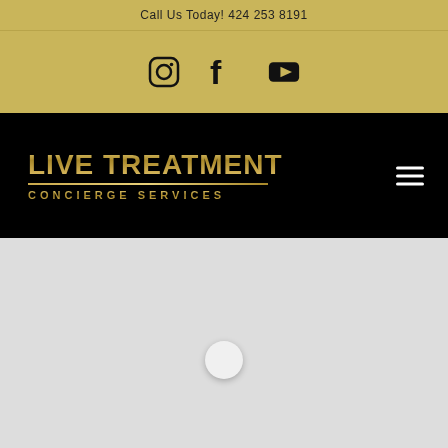Call Us Today! 424 253 8191
[Figure (screenshot): Social media icons: Instagram, Facebook, YouTube on gold background]
[Figure (logo): Live Treatment Concierge Services logo in gold on black background with hamburger menu icon]
[Figure (map): Gray map area with a location pin marker in the center]